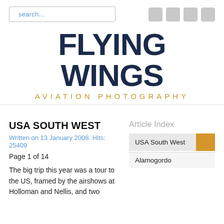search...
FLYING WINGS
AVIATION PHOTOGRAPHY
USA SOUTH WEST
Written on 13 January 2008. Hits: 25409
Page 1 of 14
The big trip this year was a tour to the US, framed by the airshows at Holloman and Nellis, and two
Article Index
USA South West
Alamogordo